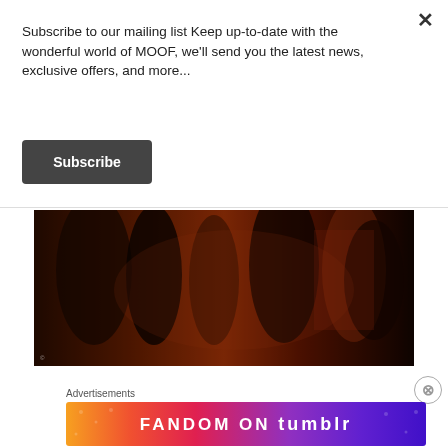Subscribe to our mailing list Keep up-to-date with the wonderful world of MOOF, we'll send you the latest news, exclusive offers, and more...
Subscribe
[Figure (photo): Dark photo showing silhouettes of people dancing or gathering in dim reddish-orange lighting at what appears to be a party or club event.]
Advertisements
[Figure (illustration): Fandom on Tumblr advertisement banner with colorful gradient background from orange to purple, featuring the text FANDOM ON tumblr in bold letters.]